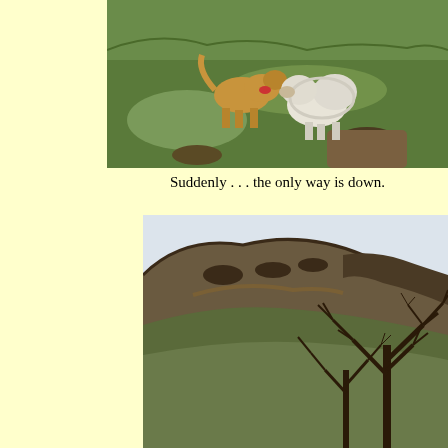[Figure (photo): Two dogs on a grassy hillside, one golden/tan and one white fluffy, touching noses or playing together on green grass slope]
Suddenly . . . the only way is down.
[Figure (photo): A steep hillside or mountain ridge with bare winter trees in the foreground on the right side, rocky escarpment at the top, overcast sky]